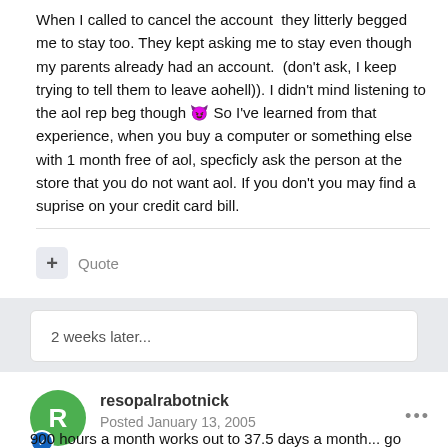When I called to cancel the account  they litterly begged me to stay too. They kept asking me to stay even though my parents already had an account.  (don't ask, I keep trying to tell them to leave aohell)). I didn't mind listening to the aol rep beg though 😈 So I've learned from that experience, when you buy a computer or something else with 1 month free of aol, specficly ask the person at the store that you do not want aol. If you don't you may find a suprise on your credit card bill.
Quote
2 weeks later...
resopalrabotnick
Posted January 13, 2005
900 hours a month works out to 37.5 days a month... go figure...